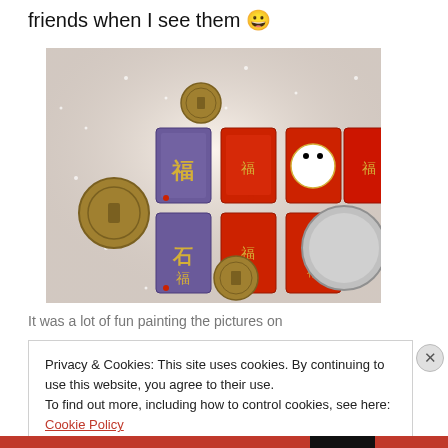friends when I see them 😀
[Figure (photo): Photo of miniature red envelopes (hongbao) with Chinese characters and designs, ancient coins, and a coin for size reference, on a sparkly white background.]
It was a lot of fun painting the pictures on
Privacy & Cookies: This site uses cookies. By continuing to use this website, you agree to their use.
To find out more, including how to control cookies, see here: Cookie Policy
Close and accept